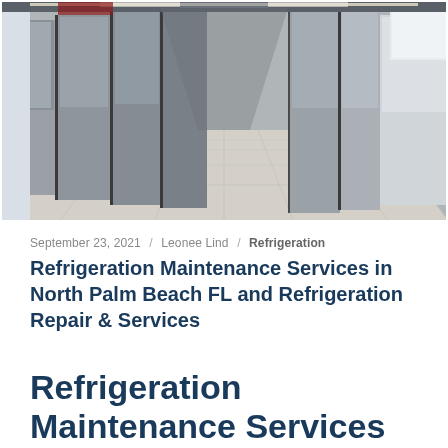[Figure (photo): A showroom corridor lined with stainless steel refrigerators and white refrigerators on both sides, with white tile flooring and overhead fluorescent lighting.]
September 23, 2021 / Leonee Lind / Refrigeration
Refrigeration Maintenance Services in North Palm Beach FL and Refrigeration Repair & Services
Refrigeration Maintenance Services in